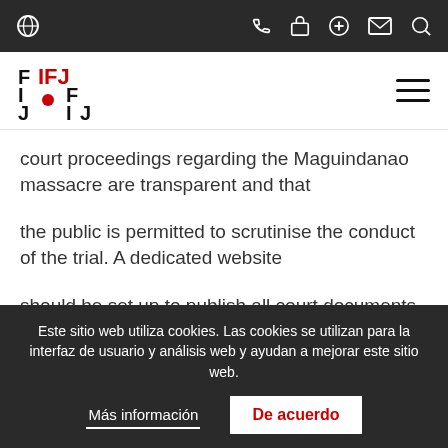IFJ navigation bar with globe, phone, lock, plus, mail, search icons
[Figure (logo): IFJ (International Federation of Journalists) logo with hamburger menu]
court proceedings regarding the Maguindanao massacre are transparent and that
the public is permitted to scrutinise the conduct of the trial. A dedicated website
should be set up to publish all court documents and proceedings, and broadcasts
Este sitio web utiliza cookies. Las cookies se utilizan para la interfaz de usuario y análisis web y ayudan a mejorar este sitio web.
Más información | De acuerdo